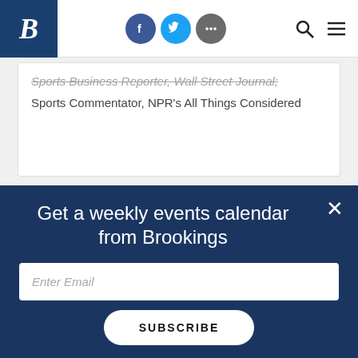Brookings Institution navigation bar with logo, Facebook, Twitter, more icons, search and menu
Sports Business Reporter, Wall Street Journal; Sports Commentator, NPR's All Things Considered
Get a weekly events calendar from Brookings
Enter Email
SUBSCRIBE